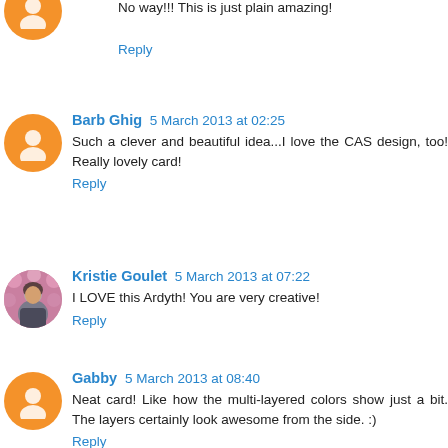No way!!! This is just plain amazing!
Reply
Barb Ghig 5 March 2013 at 02:25
Such a clever and beautiful idea...I love the CAS design, too! Really lovely card!
Reply
Kristie Goulet 5 March 2013 at 07:22
I LOVE this Ardyth! You are very creative!
Reply
Gabby 5 March 2013 at 08:40
Neat card! Like how the multi-layered colors show just a bit. The layers certainly look awesome from the side. :)
Reply